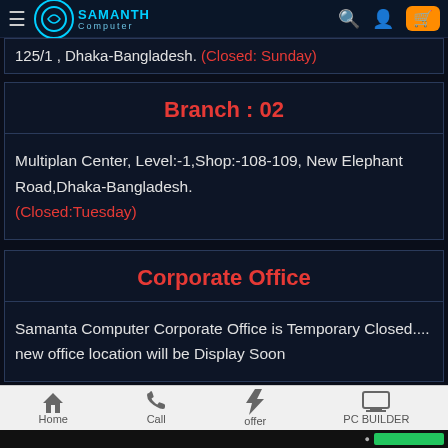Samanth Computer
125/1, Dhaka-Bangladesh. (Closed: Sunday)
Branch : 02
Multiplan Center, Level:-1,Shop:-108-109, New Elephant Road,Dhaka-Bangladesh.
(Closed:Tuesday)
Corporate Office
Samanta Computer Corporate Office is Temporary Closed.... new office location will be Display Soon
Home  Call  offer  PC BUILDER